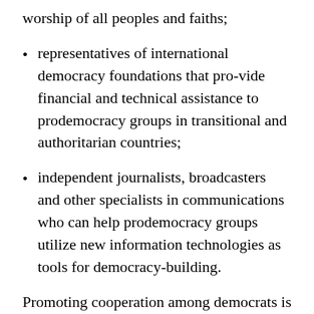worship of all peoples and faiths;
representatives of international democracy foundations that pro-vide financial and technical assistance to prodemocracy groups in transitional and authoritarian countries;
independent journalists, broadcasters and other specialists in communications who can help prodemocracy groups utilize new information technologies as tools for democracy-building.
Promoting cooperation among democrats is